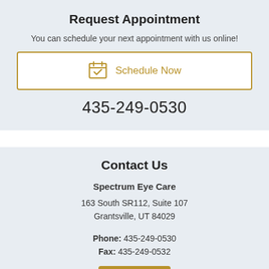Request Appointment
You can schedule your next appointment with us online!
[Figure (other): Schedule Now button with calendar icon and gold border]
435-249-0530
Contact Us
Spectrum Eye Care
163 South SR112, Suite 107
Grantsville, UT 84029
Phone: 435-249-0530
Fax: 435-249-0532
[Figure (other): Gold button partially visible at bottom]